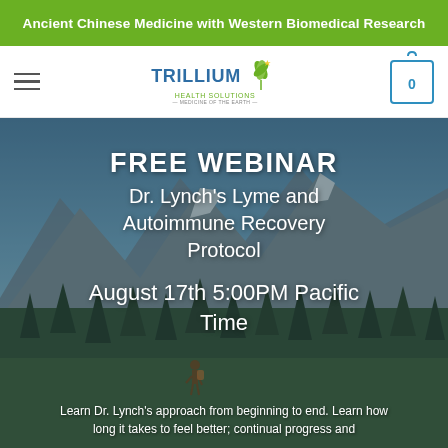Ancient Chinese Medicine with Western Biomedical Research
[Figure (logo): Trillium Health Solutions logo with green leaf and blue text]
FREE WEBINAR
Dr. Lynch's Lyme and Autoimmune Recovery Protocol
August 17th 5:00PM Pacific Time
[Figure (photo): Mountain landscape with pine trees, rocky peaks, and a hiker in the background]
Learn Dr. Lynch's approach from beginning to end. Learn how long it takes to feel better; continual progress and